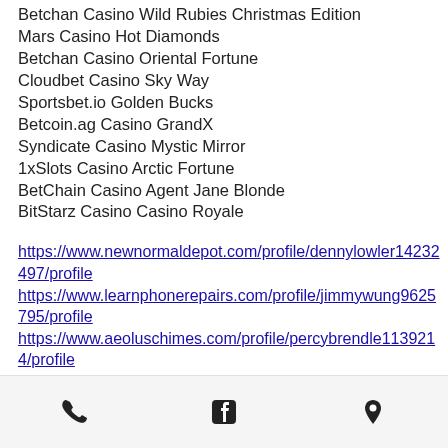Betchan Casino Wild Rubies Christmas Edition
Mars Casino Hot Diamonds
Betchan Casino Oriental Fortune
Cloudbet Casino Sky Way
Sportsbet.io Golden Bucks
Betcoin.ag Casino GrandX
Syndicate Casino Mystic Mirror
1xSlots Casino Arctic Fortune
BetChain Casino Agent Jane Blonde
BitStarz Casino Casino Royale
https://www.newnormaldepot.com/profile/dennylowler14232497/profile
https://www.learnphonerepairs.com/profile/jimmywung9625795/profile
https://www.aeoluschimes.com/profile/percybrendle1139214/profile
https://www.lovingtouchallnatural.com/profile/
Phone | Facebook | Location